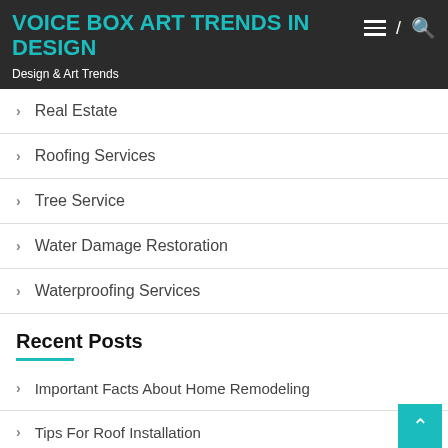VOICE BOX ART TRENDS IN DESIGN
Design & Art Trends
Real Estate
Roofing Services
Tree Service
Water Damage Restoration
Waterproofing Services
Recent Posts
Important Facts About Home Remodeling
Tips For Roof Installation
Military Homeowners Insurance – How To Get The Best Rates